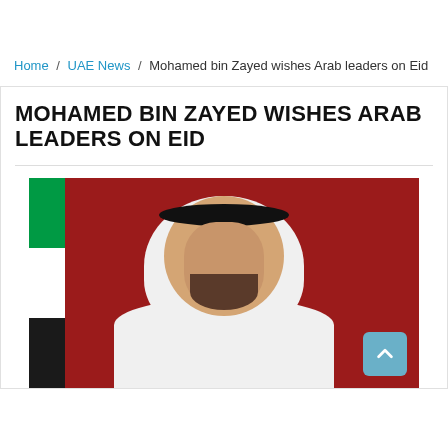Home / UAE News / Mohamed bin Zayed wishes Arab leaders on Eid
MOHAMED BIN ZAYED WISHES ARAB LEADERS ON EID
[Figure (photo): Official portrait photo of Mohamed bin Zayed wearing white kandura and black agal, with UAE flag visible in background on a dark red backdrop]